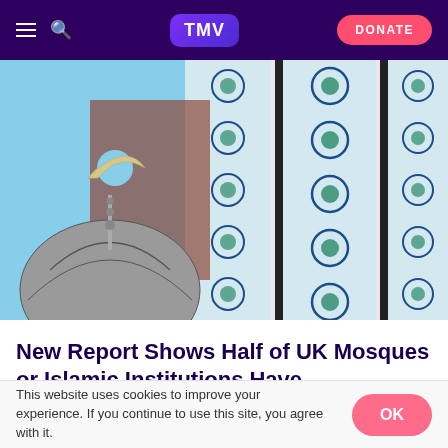TMV — Navigation bar with hamburger menu, search icon, TMV logo, and DONATE button
[Figure (photo): Photo of a mosque dome with crescent moon finial and decorative tiled wall with blue geometric Islamic patterns in the background]
New Report Shows Half of UK Mosques or Islamic Institutions Have Experienced Religiously Motivated
This website uses cookies to improve your experience. If you continue to use this site, you agree with it.